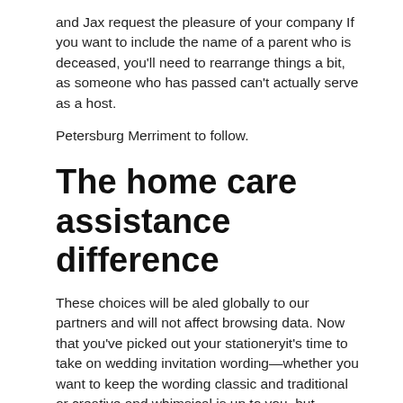and Jax request the pleasure of your company If you want to include the name of a parent who is deceased, you'll need to rearrange things a bit, as someone who has passed can't actually serve as a host.
Petersburg Merriment to follow.
The home care assistance difference
These choices will be aled globally to our partners and will not affect browsing data. Now that you've picked out your stationeryit's time to take on wedding invitation wording—whether you want to keep the wording classic and traditional or creative and whimsical is up to you, but whatever route you choose, there are still basic elements that should be included no matter what.
Panorama Hills. I Accept Show Purposes. Here are few options:. Try this, for example:. Formal invitations issued by the bride's parents refer to her by her first and middle names, the groom by his full name and title; if the couple is hosting by themselves, their titles are optional. The good news is that